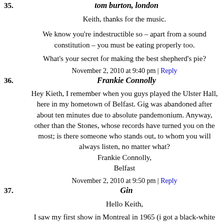35. tom burton, london
Keith, thanks for the music.
We know you're indestructible so – apart from a sound constitution – you must be eating properly too.
What's your secret for making the best shepherd's pie?
November 2, 2010 at 9:40 pm | Reply
36. Frankie Connolly
Hey Kieth, I remember when you guys played the Ulster Hall, here in my hometown of Belfast. Gig was abandoned after about ten minutes due to absolute pandemonium. Anyway, other than the Stones, whose records have turned you on the most; is there someone who stands out, to whom you will always listen, no matter what?
Frankie Connolly,
Belfast
November 2, 2010 at 9:50 pm | Reply
37. Gin
Hello Keith,
I saw my first show in Montreal in 1965 (i got a black-white